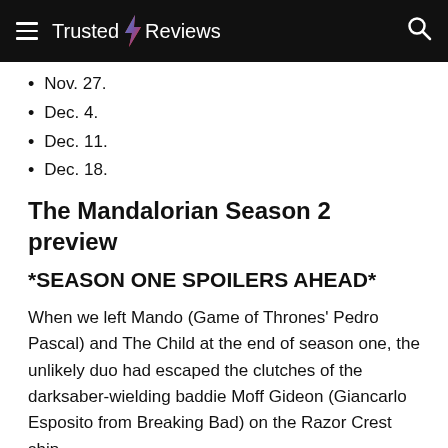Trusted Reviews
Nov. 27.
Dec. 4.
Dec. 11.
Dec. 18.
The Mandalorian Season 2 preview
*SEASON ONE SPOILERS AHEAD*
When we left Mando (Game of Thrones' Pedro Pascal) and The Child at the end of season one, the unlikely duo had escaped the clutches of the darksaber-wielding baddie Moff Gideon (Giancarlo Esposito from Breaking Bad) on the Razor Crest ship.
Gideon is down, but not out. We see him clamber from the wreckage of his TIE Fighter, seemingly hell bent on vengeance. We know Cara Dune and Greef Karga are